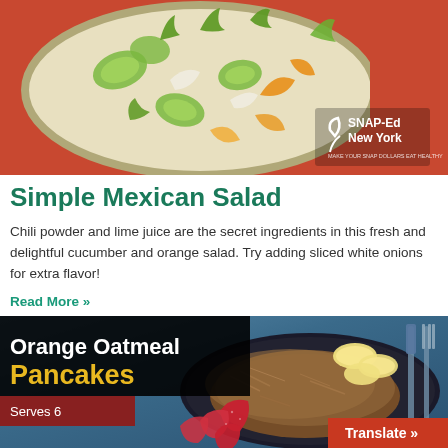[Figure (photo): Overhead photo of a fresh cucumber and orange salad with dill in a bowl, with SNAP-Ed New York logo overlay in top right corner]
Simple Mexican Salad
Chili powder and lime juice are the secret ingredients in this fresh and delightful cucumber and orange salad. Try adding sliced white onions for extra flavor!
Read More »
[Figure (photo): Photo of orange oatmeal pancakes on a blue plate with strawberries and banana slices, with text overlay: Orange Oatmeal Pancakes, Serves 6, and a Translate » button in bottom right]